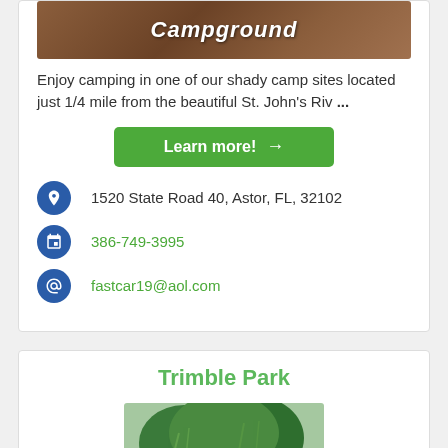[Figure (photo): Campground wooden sign banner with white stylized text reading 'Campground']
Enjoy camping in one of our shady camp sites located just 1/4 mile from the beautiful St. John's Riv ...
Learn more! →
1520 State Road 40, Astor, FL, 32102
386-749-3995
fastcar19@aol.com
Trimble Park
[Figure (photo): Outdoor park scene with large moss-draped oak trees and green gazebo/pavilion structures]